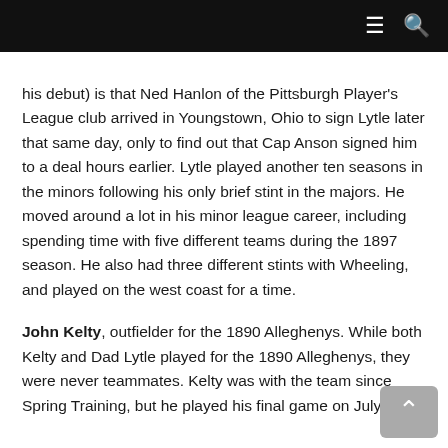☰  🔍
his debut) is that Ned Hanlon of the Pittsburgh Player's League club arrived in Youngstown, Ohio to sign Lytle later that same day, only to find out that Cap Anson signed him to a deal hours earlier. Lytle played another ten seasons in the minors following his only brief stint in the majors. He moved around a lot in his minor league career, including spending time with five different teams during the 1897 season. He also had three different stints with Wheeling, and played on the west coast for a time.
John Kelty, outfielder for the 1890 Alleghenys. While both Kelty and Dad Lytle played for the 1890 Alleghenys, they were never teammates. Kelty was with the team since Spring Training, but he played his final game on July 12th